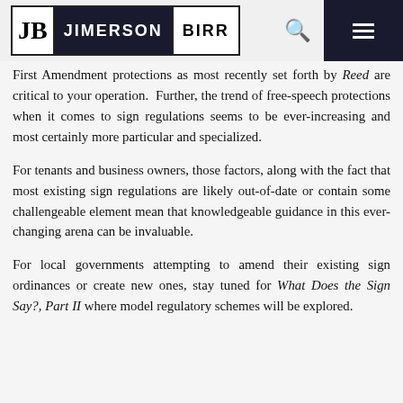JIMERSON BIRR
First Amendment protections as most recently set forth by Reed are critical to your operation. Further, the trend of free-speech protections when it comes to sign regulations seems to be ever-increasing and most certainly more particular and specialized.
For tenants and business owners, those factors, along with the fact that most existing sign regulations are likely out-of-date or contain some challengeable element mean that knowledgeable guidance in this ever-changing arena can be invaluable.
For local governments attempting to amend their existing sign ordinances or create new ones, stay tuned for What Does the Sign Say?, Part II where model regulatory schemes will be explored.